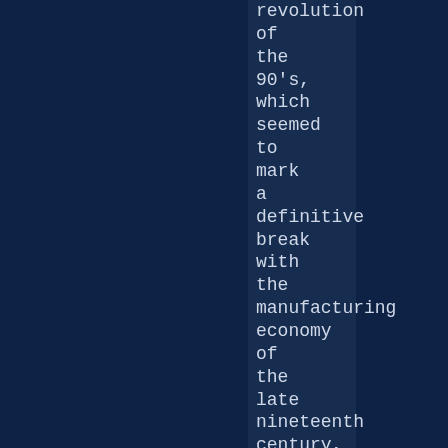revolution of the 90's, which seemed to mark a definitive break with the manufacturing economy of the late nineteenth century, economists assumed that